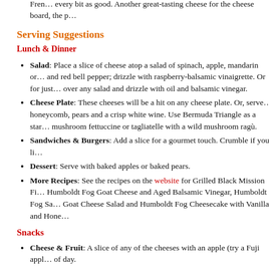...ing that becomes richer and creamier near the center. You can savor great tantalizing on a salad or a buffet.
Pee Wee Pyramid (photo below) reminds us of our first, eye-opening Fren... every bit as good. Another great-tasting cheese for the cheese board, the p...
Serving Suggestions
Lunch & Dinner
Salad: Place a slice of cheese atop a salad of spinach, apple, mandarin or... and red bell pepper; drizzle with raspberry-balsamic vinaigrette. Or for just... over any salad and drizzle with oil and balsamic vinegar.
Cheese Plate: These cheeses will be a hit on any cheese plate. Or, serve... honeycomb, pears and a crisp white wine. Use Bermuda Triangle as a star... mushroom fettuccine or tagliatelle with a wild mushroom ragù.
Sandwiches & Burgers: Add a slice for a gourmet touch. Crumble if you li...
Dessert: Serve with baked apples or baked pears.
More Recipes: See the recipes on the website for Grilled Black Mission Fi... Humboldt Fog Goat Cheese and Aged Balsamic Vinegar, Humboldt Fog Sa... Goat Cheese Salad and Humboldt Fog Cheesecake with Vanilla and Hone...
Snacks
Cheese & Fruit: A slice of any of the cheeses with an apple (try a Fuji appl... of day.
Back to Index
Firm Cheeses
Two delicious firm cheeses offer very different perspectives on what a goat chees...